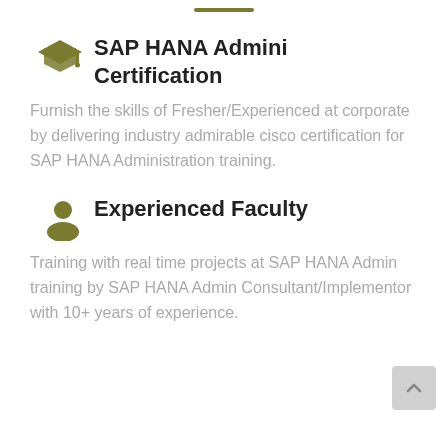SAP HANA Admini Certification
Furnish the skills of Fresher/Experienced at corporate by delivering industry admirable cisco certification for SAP HANA Administration training.
Experienced Faculty
Training with real time projects at SAP HANA Admin training by SAP HANA Admin Consultant/Implementor with 10+ years of experience.